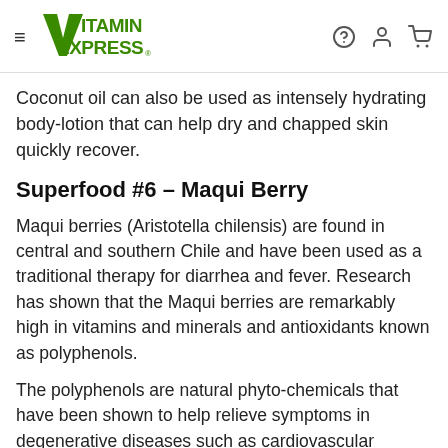Vitamin Express
Coconut oil can also be used as intensely hydrating body-lotion that can help dry and chapped skin quickly recover.
Superfood #6 – Maqui Berry
Maqui berries (Aristotella chilensis) are found in central and southern Chile and have been used as a traditional therapy for diarrhea and fever. Research has shown that the Maqui berries are remarkably high in vitamins and minerals and antioxidants known as polyphenols.
The polyphenols are natural phyto-chemicals that have been shown to help relieve symptoms in degenerative diseases such as cardiovascular damage, metabolic inflammation and cancer